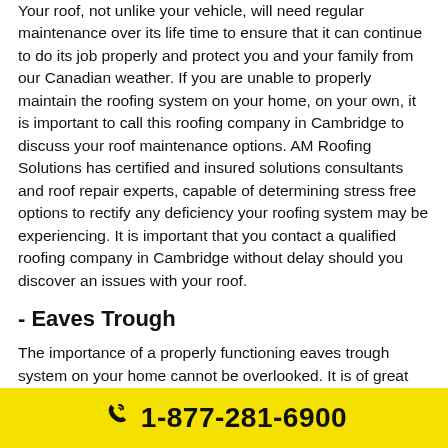Your roof, not unlike your vehicle, will need regular maintenance over its life time to ensure that it can continue to do its job properly and protect you and your family from our Canadian weather. If you are unable to properly maintain the roofing system on your home, on your own, it is important to call this roofing company in Cambridge to discuss your roof maintenance options. AM Roofing Solutions has certified and insured solutions consultants and roof repair experts, capable of determining stress free options to rectify any deficiency your roofing system may be experiencing. It is important that you contact a qualified roofing company in Cambridge without delay should you discover an issues with your roof.
- Eaves Trough
The importance of a properly functioning eaves trough system on your home cannot be overlooked. It is of great importance that you call a roofing company in Cambridge, should you notice any damage to your eaves trough. Costly issues like a damaged foundation, or possible basement flooding, are likely to arise if any damage such as
1-877-281-6900